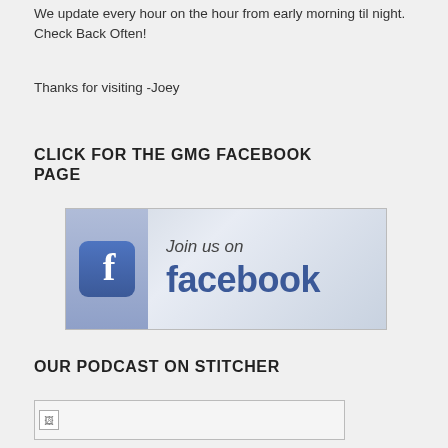We update every hour on the hour from early morning til night. Check Back Often!
Thanks for visiting -Joey
CLICK FOR THE GMG FACEBOOK PAGE
[Figure (illustration): Facebook 'Join us on facebook' banner image with Facebook logo icon on left and text 'Join us on facebook' on right against a light blue-grey gradient background.]
OUR PODCAST ON STITCHER
[Figure (illustration): Broken image placeholder for podcast on Stitcher link, shown as a small broken image icon inside a bordered rectangle.]